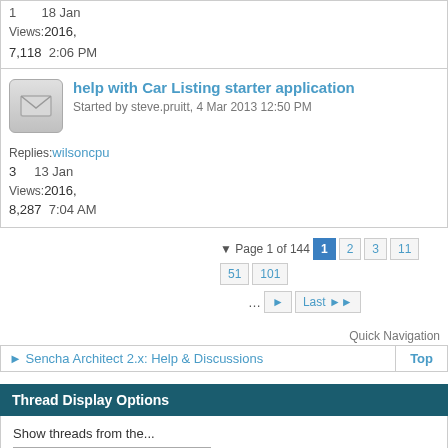| 1 | 18 Jan | Views: | 7,118 | 2:06 PM |
| help with Car Listing starter application | Started by steve.pruitt, 4 Mar 2013 12:50 PM | Replies: wilsoncpu | 3 | 13 Jan | Views: | 8,287 | 7:04 AM |
Page 1 of 144  1  2  3  11  51  101  ...  Last
Quick Navigation
▸ Sencha Architect 2.x: Help & Discussions
Top
Thread Display Options
Show threads from the...
Beginning
Sort threads by: